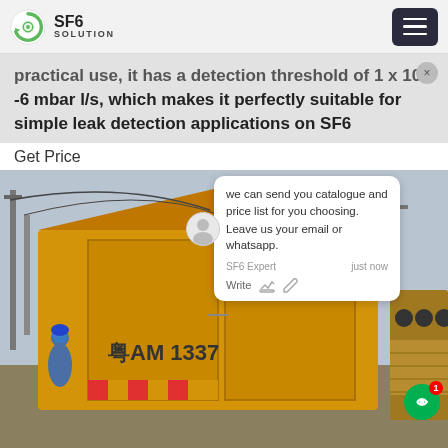SF6 SOLUTION
practical use, it has a detection threshold of 1 x 10-6 mbar l/s, which makes it perfectly suitable for simple leak detection applications on SF6
Get Price
[Figure (photo): Yellow SF6 service truck (marked 'AM 1337') parked at an electrical substation with high-voltage equipment, workers in blue hard hats visible on the left side, and additional industrial equipment on the right.]